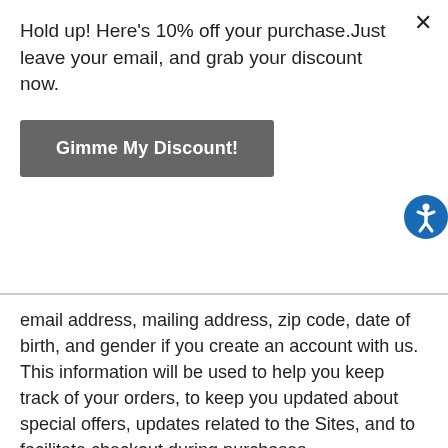Hold up! Here's 10% off your purchase.Just leave your email, and grab your discount now.
Gimme My Discount!
email address, mailing address, zip code, date of birth, and gender if you create an account with us. This information will be used to help you keep track of your orders, to keep you updated about special offers, updates related to the Sites, and to facilitate checkout during purchases.
Information for Commercial Communications: We may collect your name, email address, mailing address, gender, and birth date if you sign up to receive promotional emails from us. This information may be used to contact you about sales, special offers and new features available through the Sites.
Information Relating to Inquiries: We may collect your name and email address if you contact us with a